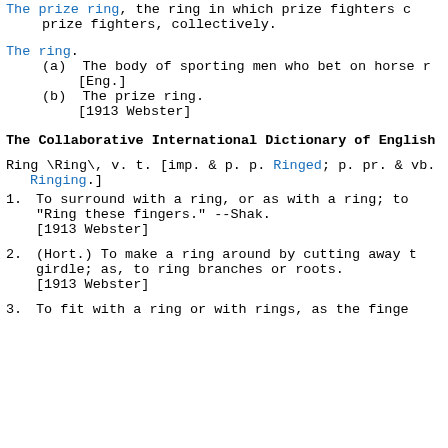The prize ring, the ring in which prize fighters compete; prize fighters, collectively.
The ring.
(a) The body of sporting men who bet on horse r... [Eng.]
(b) The prize ring.
[1913 Webster]
The Collaborative International Dictionary of English
Ring \Ring\, v. t. [imp. & p. p. Ringed; p. pr. & vb. Ringing.]
1. To surround with a ring, or as with a ring; to "Ring these fingers." --Shak.
[1913 Webster]
2. (Hort.) To make a ring around by cutting away the girdle; as, to ring branches or roots.
[1913 Webster]
3. To fit with a ring or with rings, as the finger...